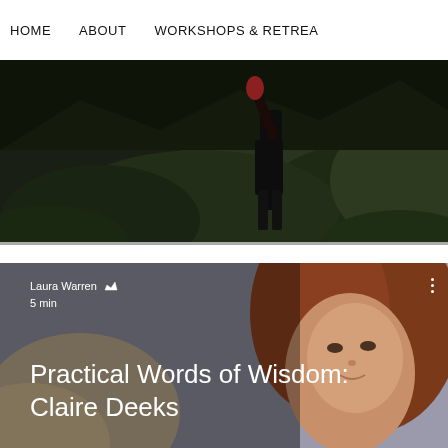HOME   ABOUT   WORKSHOPS & RETREATS
[Figure (photo): Dark outdoor scene showing a person in black clothing with one arm raised, surrounded by dark green foliage and trees in a dramatic landscape]
[Figure (photo): Portrait photo of a woman with auburn/red hair, soft smile, warm-toned background. Overlaid with text: author name 'Laura Warren' with crown/admin icon, '5 min' read time, and title 'Practical Words of Wisdom: Claire Deeks']
Laura Warren 👑 5 min
Practical Words of Wisdom: Claire Deeks